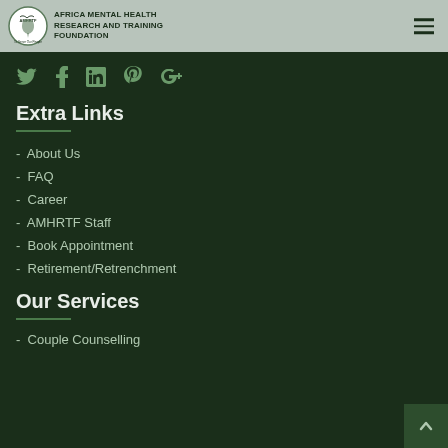Africa Mental Health Research and Training Foundation
[Figure (logo): AMHRTF circular logo with Africa map and bird silhouette]
Extra Links
About Us
FAQ
Career
AMHRTF Staff
Book Appointment
Retirement/Retrenchment
Our Services
Couple Counselling